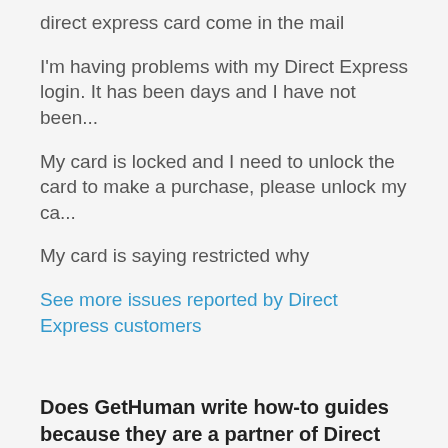direct express card come in the mail
I'm having problems with my Direct Express login. It has been days and I have not been...
My card is locked and I need to unlock the card to make a purchase, please unlock my ca...
My card is saying restricted why
See more issues reported by Direct Express customers
Does GetHuman write how-to guides because they are a partner of Direct Express?
GetHuman has no affiliation whatsoever with Direct Express, let alone a partnership in which GetHuman would write guides on behalf of another institution. Rather, GetHuman has been helping customers solve